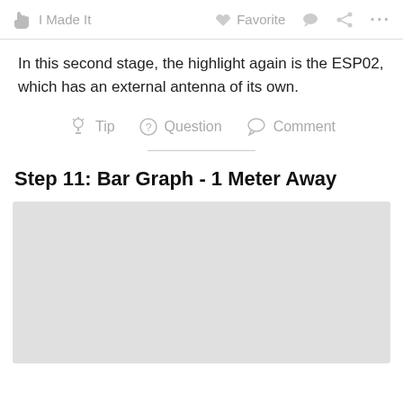I Made It  Favorite  Comment  Share  ...
In this second stage, the highlight again is the ESP02, which has an external antenna of its own.
Tip  Question  Comment
Step 11: Bar Graph - 1 Meter Away
[Figure (photo): Gray placeholder image area below the step header]